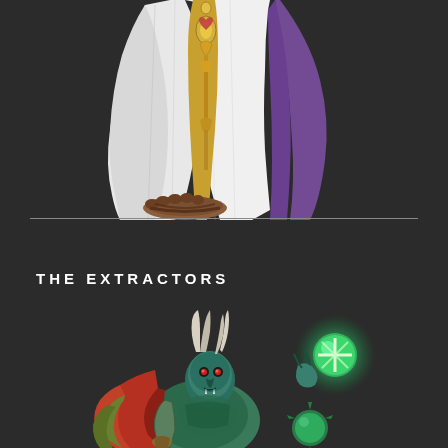[Figure (illustration): Lower body of a robed figure in white and purple robes with gold ornamental detail, wearing brown sandals, shown from waist down on dark background]
THE EXTRACTORS
[Figure (illustration): Fantasy creature or demon character with horns, colorful feathered/scaled body, holding a glowing green orb with a cross symbol, on dark background]